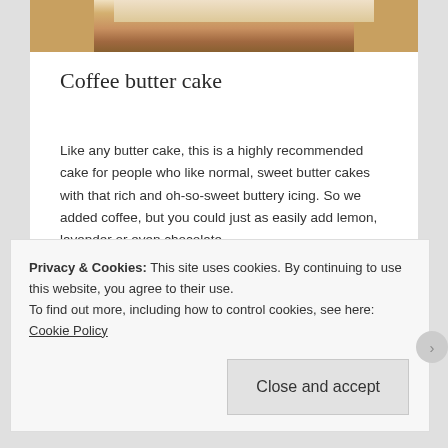[Figure (photo): Partial photo of a coffee butter cake showing layers of cake and creamy icing, cropped at top]
Coffee butter cake
Like any butter cake, this is a highly recommended cake for people who like normal, sweet butter cakes with that rich and oh-so-sweet buttery icing. So we added coffee, but you could just as easily add lemon, lavender or even chocolate.
24 April, 2015 in Biscuits/slices/cakes.
Privacy & Cookies: This site uses cookies. By continuing to use this website, you agree to their use.
To find out more, including how to control cookies, see here: Cookie Policy
Close and accept